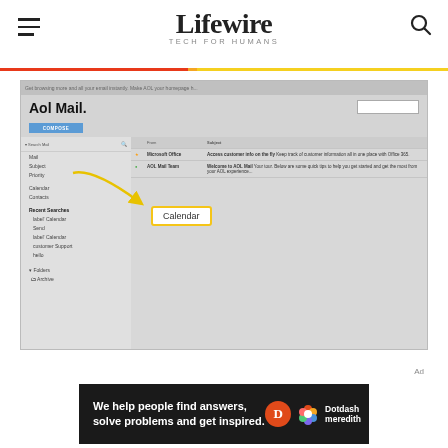Lifewire - TECH FOR HUMANS
[Figure (screenshot): Screenshot of AOL Mail interface showing search dropdown with Calendar option highlighted by a yellow arrow and tooltip, with sidebar showing Mail, Subject, Priority, Calendar, Contacts, Recent Searches, and Folders sections, and main email list showing Microsoft Office and AOL Mail Team emails]
Ad
[Figure (logo): Dotdash Meredith advertisement banner with text 'We help people find answers, solve problems and get inspired.' with D circle logo and flower logo]